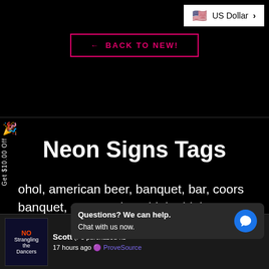[Figure (screenshot): US Dollar currency selector with American flag emoji and chevron arrow on white background]
← BACK TO NEW!
Neon Signs Tags
ohol, american beer, banquet, bar, coors banquet, coors rodeo, drink, drinkers, drunk, logo, party, pub, retro, rodeo, vintage, wine
[Figure (screenshot): Social proof notification showing Scott purchased neon signs 17 hours ago, with ProveSource branding and chat widget overlay saying Questions? We can help. Chat with us now.]